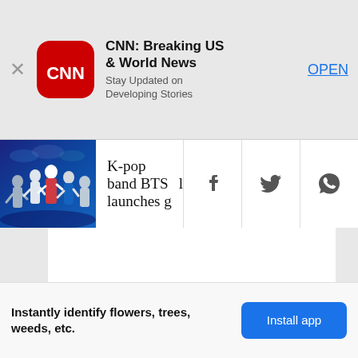[Figure (screenshot): CNN app install banner with CNN logo (red rounded square with white CNN text), app name 'CNN: Breaking US & World News', subtitle 'Stay Updated on Developing Stories', and OPEN link. There is an X close button on the left.]
CNN: Breaking US & World News
Stay Updated on Developing Stories
OPEN
[Figure (screenshot): Navigation bar showing a thumbnail of K-pop performers on stage with blue lighting, article title 'K-pop band BTS launches gl' (truncated), and social sharing icons for Facebook, Twitter, and WhatsApp.]
K-pop band BTS launches gl
Instantly identify flowers, trees, weeds, etc.
Install app